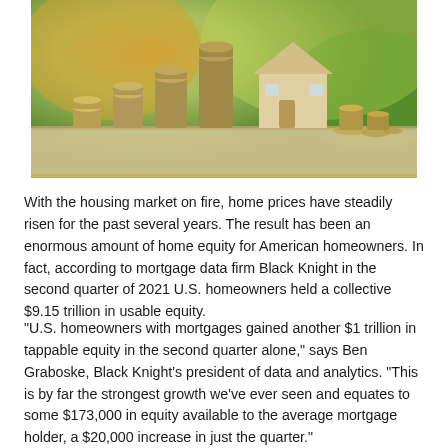[Figure (photo): Photo of stacks of coins in ascending order with a small wooden house model in the background, suggesting growing home equity. Warm natural light with green bokeh background.]
With the housing market on fire, home prices have steadily risen for the past several years. The result has been an enormous amount of home equity for American homeowners. In fact, according to mortgage data firm Black Knight in the second quarter of 2021 U.S. homeowners held a collective $9.15 trillion in usable equity.
"U.S. homeowners with mortgages gained another $1 trillion in tappable equity in the second quarter alone," says Ben Graboske, Black Knight's president of data and analytics. "This is by far the strongest growth we've ever seen and equates to some $173,000 in equity available to the average mortgage holder, a $20,000 increase in just the quarter."